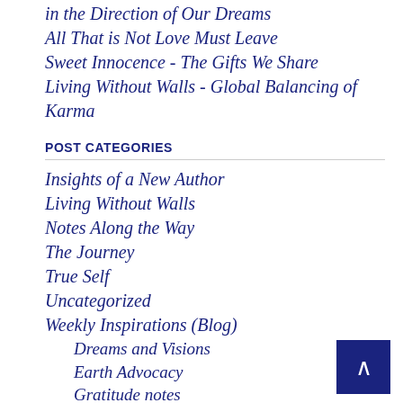in the Direction of Our Dreams
All That is Not Love Must Leave
Sweet Innocence - The Gifts We Share
Living Without Walls - Global Balancing of Karma
POST CATEGORIES
Insights of a New Author
Living Without Walls
Notes Along the Way
The Journey
True Self
Uncategorized
Weekly Inspirations (Blog)
Dreams and Visions
Earth Advocacy
Gratitude notes
Magical Inspriations from Nature
Mother Nature